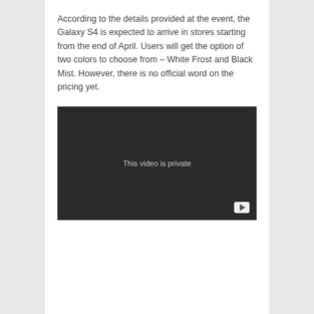According to the details provided at the event, the Galaxy S4 is expected to arrive in stores starting from the end of April. Users will get the option of two colors to choose from – White Frost and Black Mist. However, there is no official word on the pricing yet.
[Figure (screenshot): A dark/black video player embed showing 'This video is private' message with a play button in the bottom right corner.]